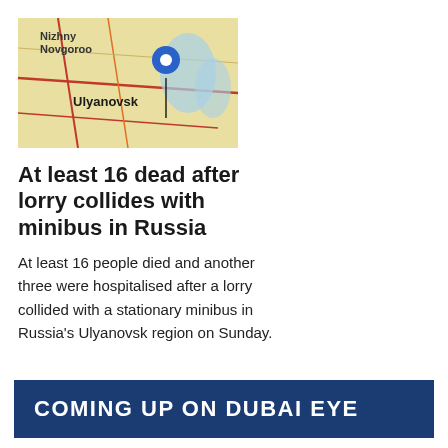[Figure (map): Map showing Ulyanovsk region in Russia with a blue location pin placed on the city of Ulyanovsk. Map shows road networks and nearby city Nizhny Novgorod.]
At least 16 dead after lorry collides with minibus in Russia
At least 16 people died and another three were hospitalised after a lorry collided with a stationary minibus in Russia's Ulyanovsk region on Sunday.
COMING UP ON DUBAI EYE